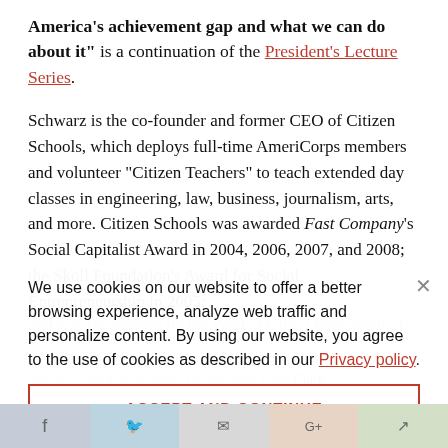America's achievement gap and what we can do about it" is a continuation of the President's Lecture Series.
Schwarz is the co-founder and former CEO of Citizen Schools, which deploys full-time AmeriCorps members and volunteer “Citizen Teachers” to teach extended day classes in engineering, law, business, journalism, arts, and more. Citizen Schools was awarded Fast Company’s Social Capitalist Award in 2004, 2006, 2007, and 2008; the Skoll Foundation’s Award for Social Entrepreneurship in 2005;
and was recognized by the White House Department of
We use cookies on our website to offer a better browsing experience, analyze web traffic and personalize content. By using our website, you agree to the use of cookies as described in our Privacy policy.
districts across seven states.
This event is free and open to the public. A question-and-answer session and book signing will immediately follow.
Schwarz’s book is available for purchase at the Clark
ACCEPT AND CONTINUE